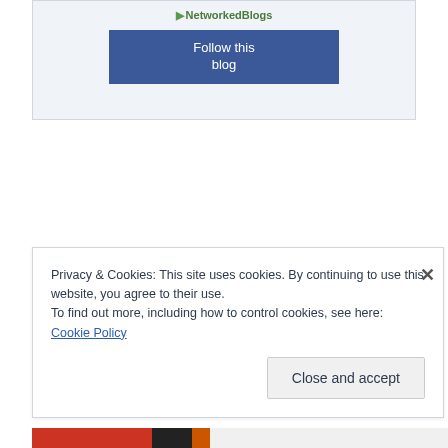[Figure (screenshot): NetworkedBlogs widget with 'Follow this blog' button on a light blue-grey background]
Privacy & Cookies: This site uses cookies. By continuing to use this website, you agree to their use.
To find out more, including how to control cookies, see here: Cookie Policy
Close and accept